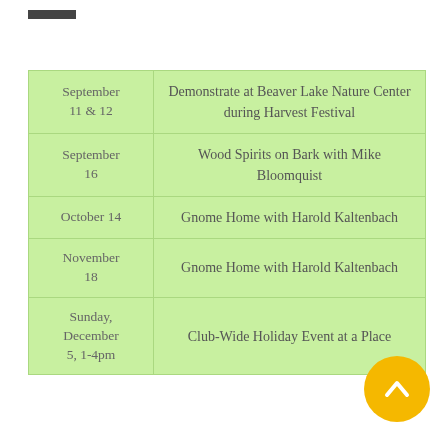≡
| Date | Event |
| --- | --- |
| September 11 & 12 | Demonstrate at Beaver Lake Nature Center during Harvest Festival |
| September 16 | Wood Spirits on Bark with Mike Bloomquist |
| October 14 | Gnome Home with Harold Kaltenbach |
| November 18 | Gnome Home with Harold Kaltenbach |
| Sunday, December 5, 1-4pm | Club-Wide Holiday Event at a Place |